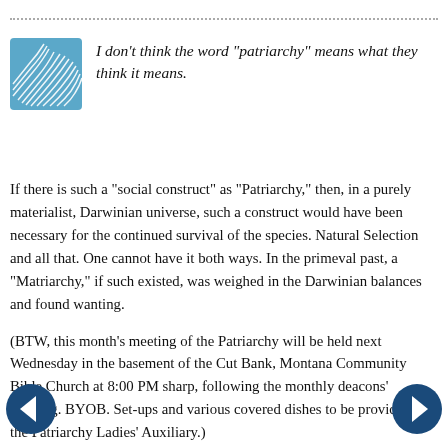[Figure (logo): Blue and white wavy lines logo icon, square shaped]
I don't think the word "patriarchy" means what they think it means.
If there is such a "social construct" as "Patriarchy," then, in a purely materialist, Darwinian universe, such a construct would have been necessary for the continued survival of the species. Natural Selection and all that. One cannot have it both ways. In the primeval past, a "Matriarchy," if such existed, was weighed in the Darwinian balances and found wanting.
(BTW, this month's meeting of the Patriarchy will be held next Wednesday in the basement of the Cut Bank, Montana Community Bible Church at 8:00 PM sharp, following the monthly deacons' meeting. BYOB. Set-ups and various covered dishes to be provided by the Patriarchy Ladies' Auxiliary.)